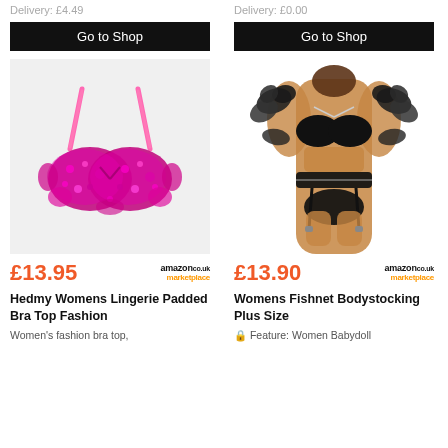Delivery: £4.49
Delivery: £0.00
Go to Shop
Go to Shop
[Figure (photo): Pink sequin padded bra top with ruffled sequin details and pink straps on a light grey background]
[Figure (photo): Woman wearing black feather-trimmed lingerie set including bra, garter belt and thong with chain details on white background]
£13.95
£13.90
Hedmy Womens Lingerie Padded Bra Top Fashion
Womens Fishnet Bodystocking Plus Size
Women's fashion bra top,
🔒 Feature: Women Babydoll